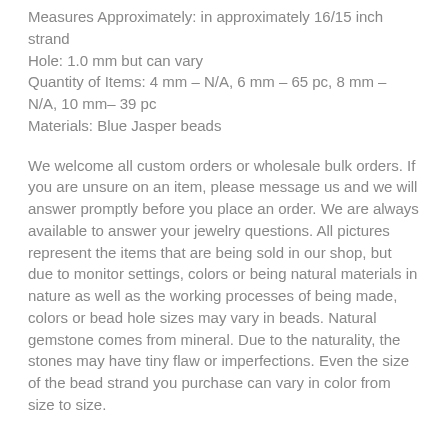Measures Approximately: in approximately 16/15 inch strand
Hole: 1.0 mm but can vary
Quantity of Items: 4 mm - N/A, 6 mm - 65 pc, 8 mm - N/A, 10 mm- 39 pc
Materials: Blue Jasper beads
We welcome all custom orders or wholesale bulk orders. If you are unsure on an item, please message us and we will answer promptly before you place an order. We are always available to answer your jewelry questions. All pictures represent the items that are being sold in our shop, but due to monitor settings, colors or being natural materials in nature as well as the working processes of being made, colors or bead hole sizes may vary in beads. Natural gemstone comes from mineral. Due to the naturality, the stones may have tiny flaw or imperfections. Even the size of the bead strand you purchase can vary in color from size to size.